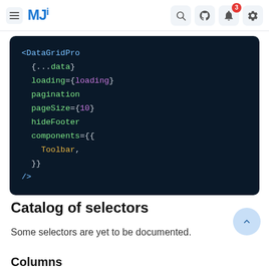MUI documentation navigation bar with search, github, notification (3), and settings icons
[Figure (screenshot): Dark code block showing JSX code for DataGridPro component with props: {...data}, loading={loading}, pagination, pageSize={10}, hideFooter, components={{Toolbar,}}]
Catalog of selectors
Some selectors are yet to be documented.
Columns